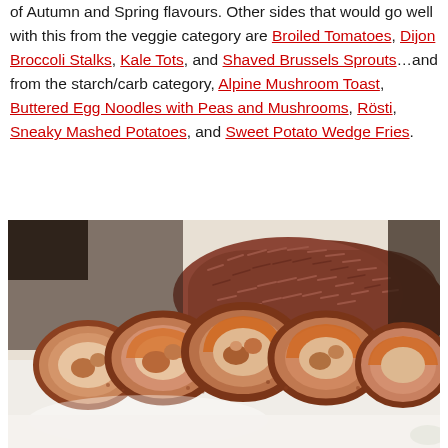of Autumn and Spring flavours. Other sides that would go well with this from the veggie category are Broiled Tomatoes, Dijon Broccoli Stalks, Kale Tots, and Shaved Brussels Sprouts...and from the starch/carb category, Alpine Mushroom Toast, Buttered Egg Noodles with Peas and Mushrooms, Rösti, Sneaky Mashed Potatoes, and Sweet Potato Wedge Fries.
[Figure (photo): Sliced stuffed chicken roll with crispy coating served on a white plate with a mound of red/brown rice in the background.]